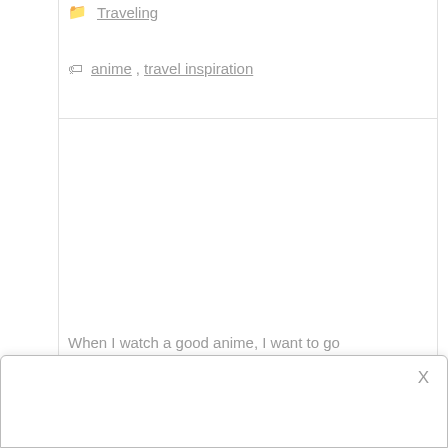Traveling
anime, travel inspiration
When I watch a good anime, I want to go
[Figure (other): Popup/modal overlay box with a close button (X) in the top right corner, partially visible at the bottom of the page]